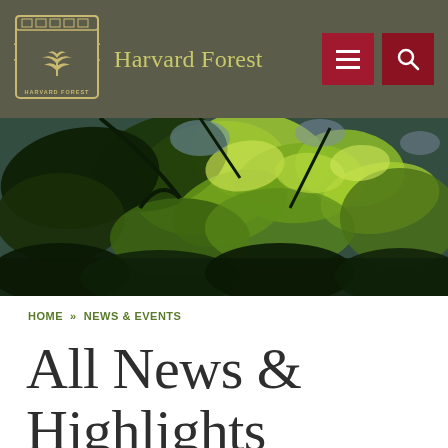Harvard Forest
[Figure (photo): Close-up photograph of green leaves backlit by sunlight against a sky background, showing vibrant green foliage from a forest canopy.]
HOME » NEWS & EVENTS
All News & Highlights